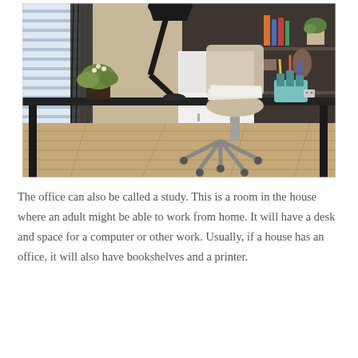[Figure (photo): A home office with a large black glass desk, an ergonomic beige office chair on wheels, a black adjustable desk lamp, a potted plant, a teal desk organizer, and built-in white cabinetry with open bookshelves displaying decorative items in the background. Wood plank flooring is visible.]
The office can also be called a study. This is a room in the house where an adult might be able to work from home. It will have a desk and space for a computer or other work. Usually, if a house has an office, it will also have bookshelves and a printer.